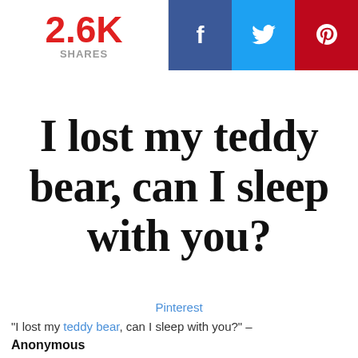2.6K SHARES | f | Twitter | Pinterest
[Figure (illustration): White image with large black serif text reading: I lost my teddy bear, can I sleep with you?]
Pinterest
“I lost my teddy bear, can I sleep with you?” – Anonymous